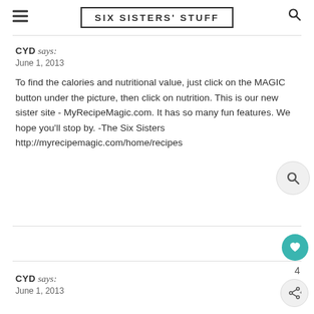SIX SISTERS' STUFF
CYD says:
June 1, 2013

To find the calories and nutritional value, just click on the MAGIC button under the picture, then click on nutrition. This is our new sister site - MyRecipeMagic.com. It has so many fun features. We hope you'll stop by. -The Six Sisters
http://myrecipemagic.com/home/recipes
CYD says:
June 1, 2013